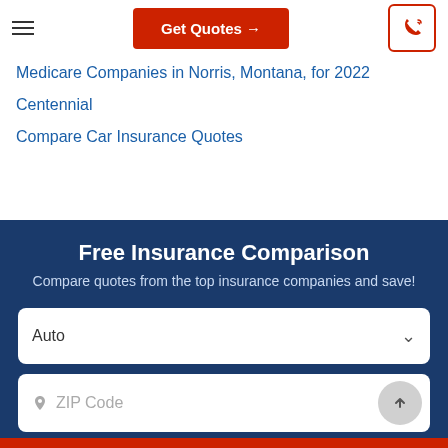[Figure (screenshot): Navigation bar with hamburger menu icon on left, red 'Get Quotes →' button in center, and red phone icon button on right]
Medicare Companies in Norris, Montana, for 2022
Centennial
Compare Car Insurance Quotes
Free Insurance Comparison
Compare quotes from the top insurance companies and save!
Auto
ZIP Code